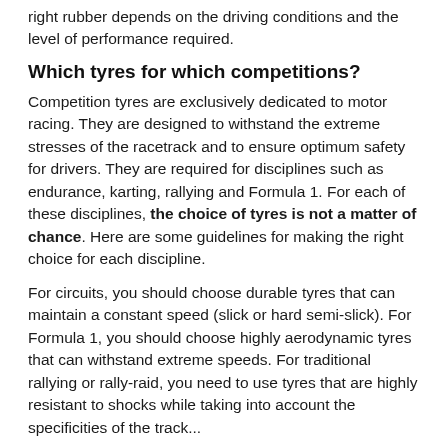right rubber depends on the driving conditions and the level of performance required.
Which tyres for which competitions?
Competition tyres are exclusively dedicated to motor racing. They are designed to withstand the extreme stresses of the racetrack and to ensure optimum safety for drivers. They are required for disciplines such as endurance, karting, rallying and Formula 1. For each of these disciplines, the choice of tyres is not a matter of chance. Here are some guidelines for making the right choice for each discipline.
For circuits, you should choose durable tyres that can maintain a constant speed (slick or hard semi-slick). For Formula 1, you should choose highly aerodynamic tyres that can withstand extreme speeds. For traditional rallying or rally-raid, you need to use tyres that are highly resistant to shocks while taking into account the specificities of the track...
For a dirt rally competition, hard semi-slicks will be ideal. For an asphalt rally, hard semi-slicks are preferable in summer and soft ones in wet conditions.
Michelin and Dunlop tyres: the market references
When we talk about motorsport tyres, there are certain